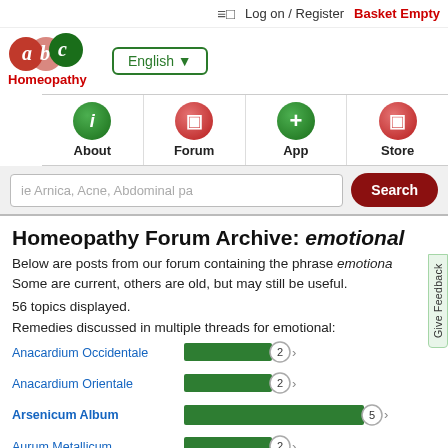≡□  Log on / Register  Basket Empty
[Figure (logo): abc Homeopathy logo with colored circles and English language dropdown]
[Figure (infographic): Navigation icons: About (green i), Forum (red square), App (green plus), Store (red square)]
ie Arnica, Acne, Abdominal pa   Search
Homeopathy Forum Archive: emotional
Below are posts from our forum containing the phrase emotional. Some are current, others are old, but may still be useful.
56 topics displayed.
Remedies discussed in multiple threads for emotional:
[Figure (bar-chart): Remedies for emotional]